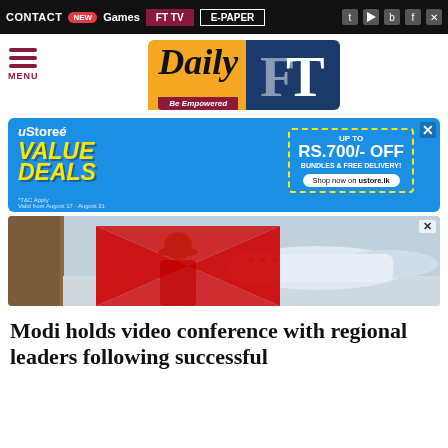CONTACT | NEW Games | FT TV | E-PAPER
[Figure (logo): Daily FT - Be Empowered logo with yellow and blue styling]
[Figure (infographic): uStore advertisement: VALUE DEALS - UP TO RS.700/- OFF BUNDLES & FREE DELIVERY! Shop now on ustore.lk]
[Figure (photo): HSBC advertisement showing a person in a straw hat looking at an airplane through a window, with large red HSBC triangular logo marks]
Modi holds video conference with regional leaders following successful